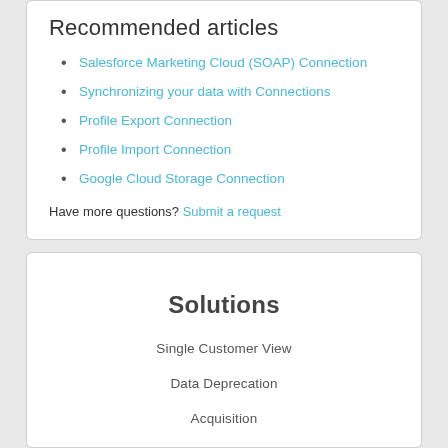Recommended articles
Salesforce Marketing Cloud (SOAP) Connection
Synchronizing your data with Connections
Profile Export Connection
Profile Import Connection
Google Cloud Storage Connection
Have more questions? Submit a request
Solutions
Single Customer View
Data Deprecation
Acquisition